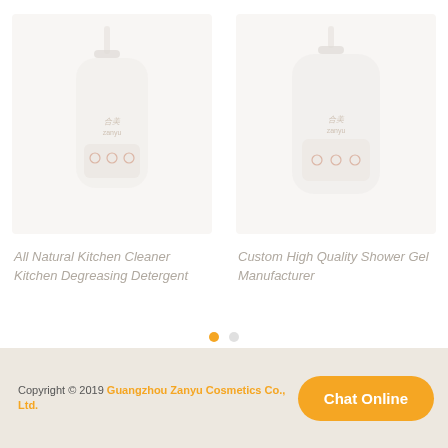[Figure (photo): Product image of All Natural Kitchen Cleaner Kitchen Degreasing Detergent in a white pump bottle with Zanyu branding]
All Natural Kitchen Cleaner Kitchen Degreasing Detergent
[Figure (photo): Product image of Custom High Quality Shower Gel in a white pump bottle with Zanyu branding]
Custom High Quality Shower Gel Manufacturer
Copyright © 2019 Guangzhou Zanyu Cosmetics Co., Ltd.  Chat Online